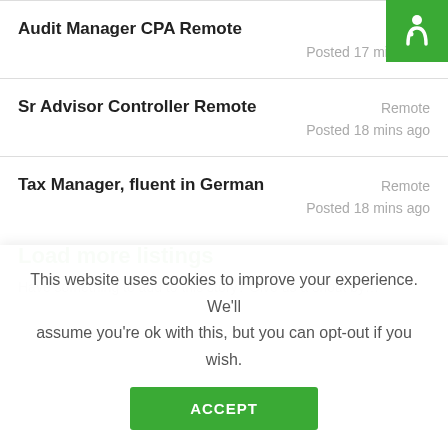[Figure (logo): Green square logo badge with white stylized person/accessibility icon in top-right corner]
Audit Manager CPA Remote — Remote — Posted 17 mins ago
Sr Advisor Controller Remote — Remote — Posted 18 mins ago
Tax Manager, fluent in German — Remote — Posted 18 mins ago
Load more listings
Have something to add to this story? Give us a shout by…
This website uses cookies to improve your experience. We'll assume you're ok with this, but you can opt-out if you wish.
ACCEPT